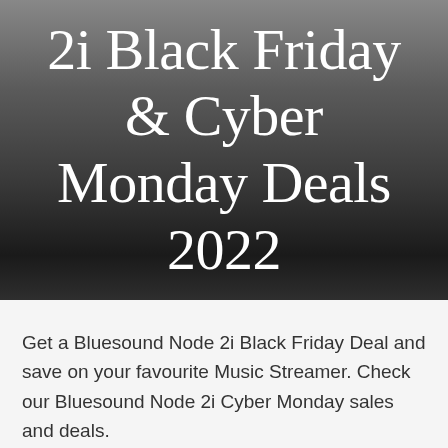2i Black Friday & Cyber Monday Deals 2022
Get a Bluesound Node 2i Black Friday Deal and save on your favourite Music Streamer. Check our Bluesound Node 2i Cyber Monday sales and deals.